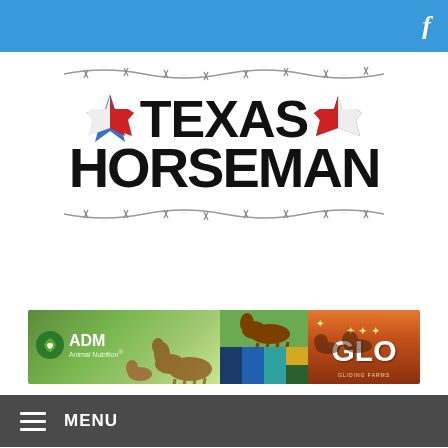f
[Figure (logo): Texas Horseman logo with barbed wire decorations, Texas stars in red/white/blue, and bold black text reading TEXAS HORSEMAN]
[Figure (other): ADM Animal Nutrition and GLO advertisement banner showing horses in green pasture and sunset field]
MENU
WHAT HAPPENS IN VEGAS DOESN'T ALWAYS HAVE TO STAY IN VEGAS